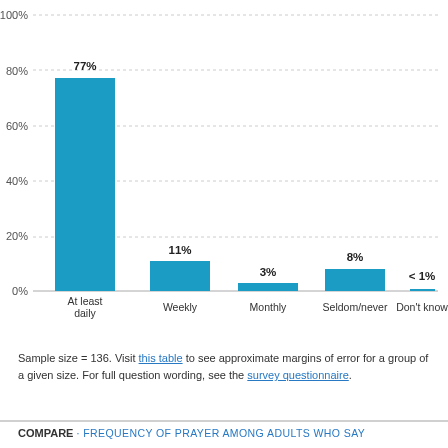[Figure (bar-chart): ]
Sample size = 136. Visit this table to see approximate margins of error for a group of a given size. For full question wording, see the survey questionnaire.
COMPARE · FREQUENCY OF PRAYER AMONG ADULTS WHO SAY